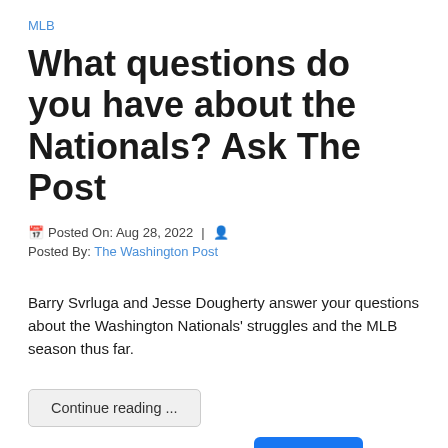MLB
What questions do you have about the Nationals? Ask The Post
Posted On: Aug 28, 2022  |  Posted By: The Washington Post
Barry Svrluga and Jesse Dougherty answer your questions about the Washington Nationals' struggles and the MLB season thus far.
Continue reading ...
Share  Tweet